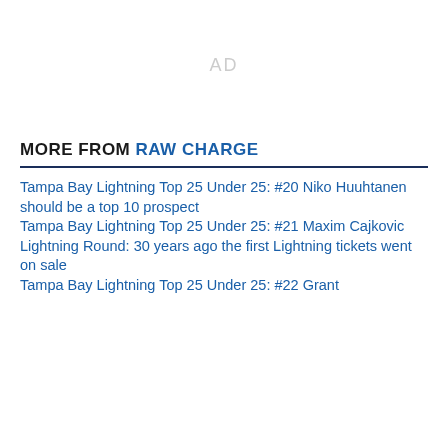[Figure (other): AD placeholder area]
MORE FROM RAW CHARGE
Tampa Bay Lightning Top 25 Under 25: #20 Niko Huuhtanen should be a top 10 prospect
Tampa Bay Lightning Top 25 Under 25: #21 Maxim Cajkovic
Lightning Round: 30 years ago the first Lightning tickets went on sale
Tampa Bay Lightning Top 25 Under 25: #22 Grant